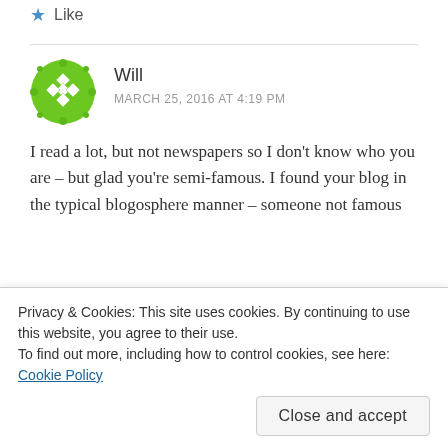★ Like
Will
MARCH 25, 2016 AT 4:19 PM
[Figure (logo): Green circular logo with diamond/rhombus pattern and leaf border]
I read a lot, but not newspapers so I don't know who you are – but glad you're semi-famous. I found your blog in the typical blogosphere manner – someone not famous
Privacy & Cookies: This site uses cookies. By continuing to use this website, you agree to their use.
To find out more, including how to control cookies, see here: Cookie Policy
Close and accept